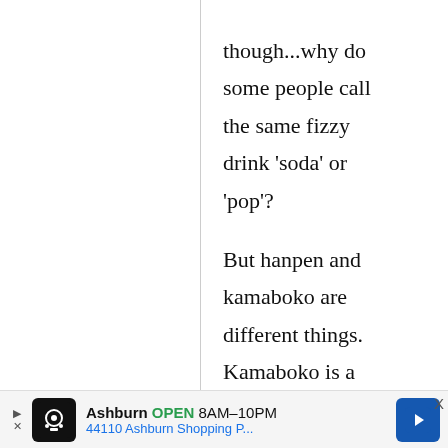though...why do some people call the same fizzy drink 'soda' or 'pop'?

But hanpen and kamaboko are different things. Kamaboko is a fairly solid, rubbery fish paste product,
[Figure (other): Advertisement banner at the bottom: Ashburn OPEN 8AM-10PM, 44110 Ashburn Shopping P...]